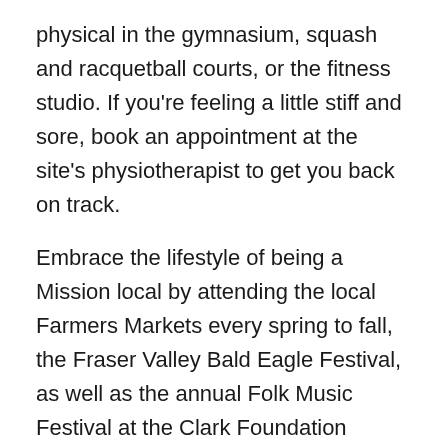physical in the gymnasium, squash and racquetball courts, or the fitness studio. If you're feeling a little stiff and sore, book an appointment at the site's physiotherapist to get you back on track.
Embrace the lifestyle of being a Mission local by attending the local Farmers Markets every spring to fall, the Fraser Valley Bald Eagle Festival, as well as the annual Folk Music Festival at the Clark Foundation Theatre.
Need to enroll your children in school?
School District 75 Mission runs the education system in the area. As is common in large, spread out geographical regions, schools are spread out through